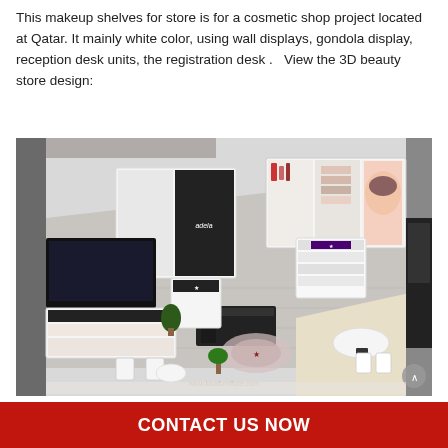This makeup shelves for store is for a cosmetic shop project located at Qatar. It mainly white color, using wall displays, gondola display, reception desk units, the registration desk .   View the 3D beauty store design:
[Figure (photo): 3D aerial view render of a cosmetic/beauty store interior showing white wall displays, gondola shelving units, reception desk, registration counter, makeup display cases, a large TV screen, seating area, and decorative elements on a grey tiled floor. A watermark reading 'www.lovafurniture.com' appears on the image.]
CONTACT US NOW